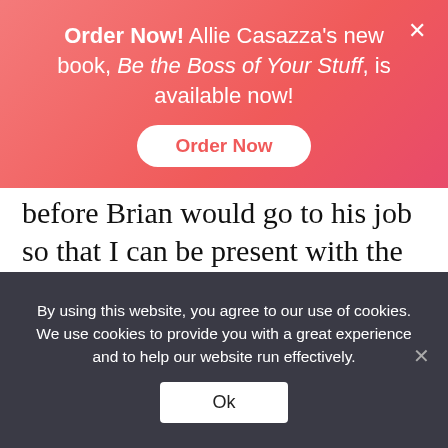Order Now! Allie Casazza's new book, Be the Boss of Your Stuff, is available now! [Order Now button]
before Brian would go to his job so that I can be present with the kids during the day because I didn't have any babysitters or help. Now it's the opposite. It's very much about self-care and quieting my soul and focusing on where I want to go and what I want my life and my day to look like before the day even starts. I like it better now, but there definitely was a season where it
By using this website, you agree to our use of cookies. We use cookies to provide you with a great experience and to help our website run effectively. [Ok button]